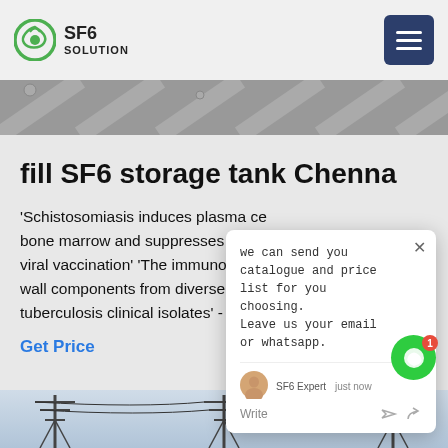SF6 SOLUTION
[Figure (photo): Top portion of an industrial or vessel image strip at the top of the page]
fill SF6 storage tank Chennai
'Schistosomiasis induces plasma cell bone marrow and suppresses the e- viral vaccination' 'The immunologica wall components from diverse Myco tuberculosis clinical isolates' - July 2
Get Price
[Figure (screenshot): Chat popup overlay showing message: 'we can send you catalogue and price list for you choosing. Leave us your email or whatsapp.' with SF6 Expert agent indicator and Write input area]
[Figure (photo): Bottom image strip showing power transmission towers/pylons against a sky background]